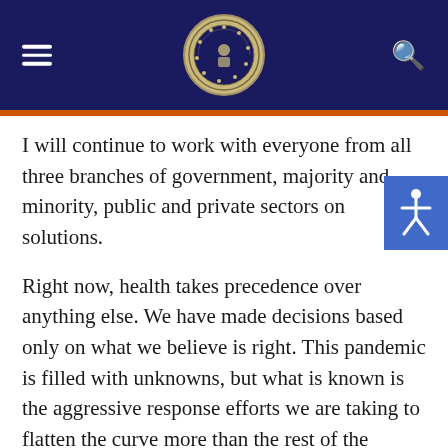[Government website header with logo, menu icon, and search icon]
I will continue to work with everyone from all three branches of government, majority and minority, public and private sectors on solutions.
Right now, health takes precedence over anything else. We have made decisions based only on what we believe is right. This pandemic is filled with unknowns, but what is known is the aggressive response efforts we are taking to flatten the curve more than the rest of the world. And as CHCC and our team continue to strategize mass testing for our community, we must keep our guards up until we defeat this disease. Continue to practice good